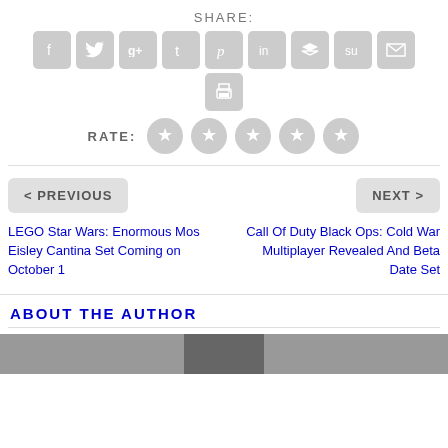SHARE:
[Figure (infographic): Row of social media sharing icons (Facebook, Twitter, Google+, Tumblr, Pinterest, LinkedIn, Buffer, StumbleUpon, Email) in grey rounded-square buttons, plus a print icon below]
RATE: ★★★★★
< PREVIOUS
NEXT >
LEGO Star Wars: Enormous Mos Eisley Cantina Set Coming on October 1
Call Of Duty Black Ops: Cold War Multiplayer Revealed And Beta Date Set
ABOUT THE AUTHOR
[Figure (photo): Partial photo of an author at the bottom of the page]